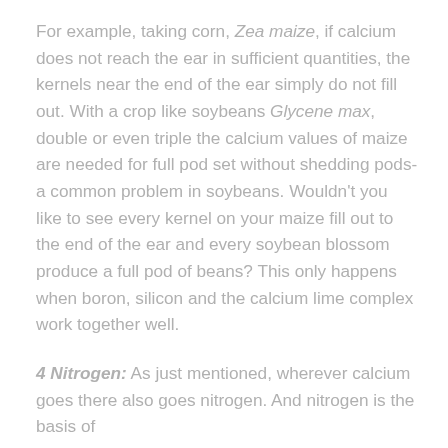For example, taking corn, Zea maize, if calcium does not reach the ear in sufficient quantities, the kernels near the end of the ear simply do not fill out. With a crop like soybeans Glycene max, double or even triple the calcium values of maize are needed for full pod set without shedding pods-a common problem in soybeans. Wouldn't you like to see every kernel on your maize fill out to the end of the ear and every soybean blossom produce a full pod of beans? This only happens when boron, silicon and the calcium lime complex work together well.
4 Nitrogen: As just mentioned, wherever calcium goes there also goes nitrogen. And nitrogen is the basis of